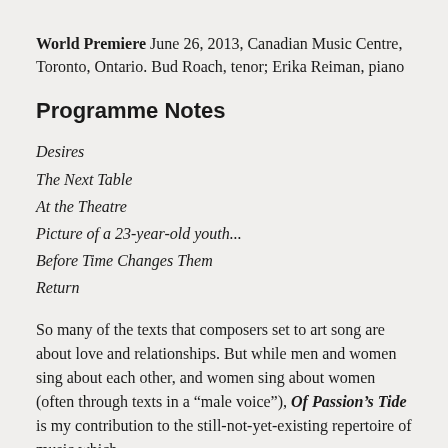World Premiere June 26, 2013, Canadian Music Centre, Toronto, Ontario. Bud Roach, tenor; Erika Reiman, piano
Programme Notes
Desires
The Next Table
At the Theatre
Picture of a 23-year-old youth...
Before Time Changes Them
Return
So many of the texts that composers set to art song are about love and relationships. But while men and women sing about each other, and women sing about women (often through texts in a “male voice”), Of Passion’s Tide is my contribution to the still-not-not-not-not-not-not-not-not-not-not